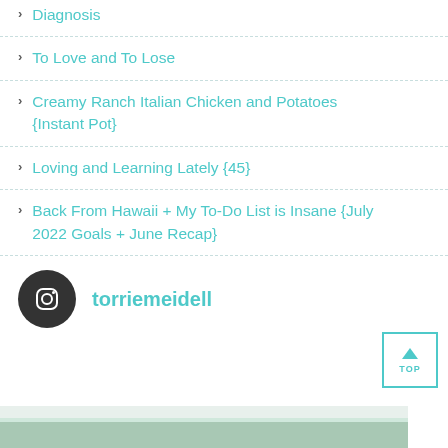Diagnosis
To Love and To Lose
Creamy Ranch Italian Chicken and Potatoes {Instant Pot}
Loving and Learning Lately {45}
Back From Hawaii + My To-Do List is Insane {July 2022 Goals + June Recap}
torriemeidell
[Figure (photo): Bottom strip showing a partial outdoor photo with greenery and a light surface, partially visible at the bottom of the page]